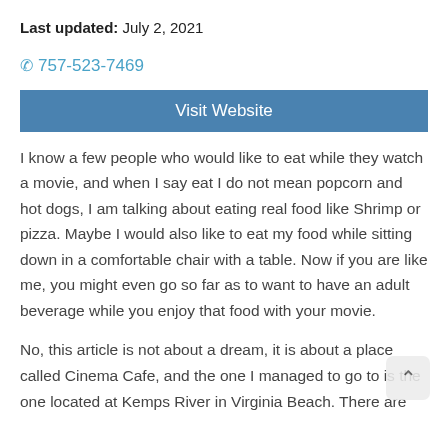Last updated: July 2, 2021
757-523-7469
Visit Website
I know a few people who would like to eat while they watch a movie, and when I say eat I do not mean popcorn and hot dogs, I am talking about eating real food like Shrimp or pizza. Maybe I would also like to eat my food while sitting down in a comfortable chair with a table. Now if you are like me, you might even go so far as to want to have an adult beverage while you enjoy that food with your movie.
No, this article is not about a dream, it is about a place called Cinema Cafe, and the one I managed to go to is the one located at Kemps River in Virginia Beach. There are